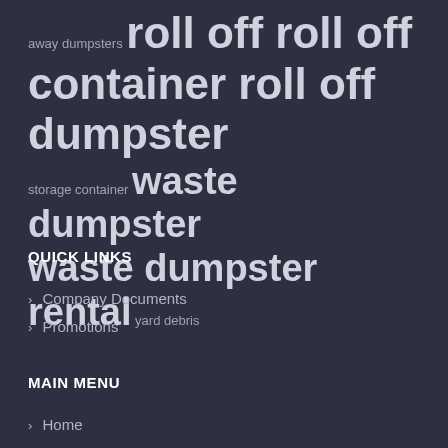away dumpsters roll off roll off container roll off dumpster storage container waste dumpster waste dumpster rental yard debris
QUICK LINKS
Company Documents
Promotions
MAIN MENU
Home